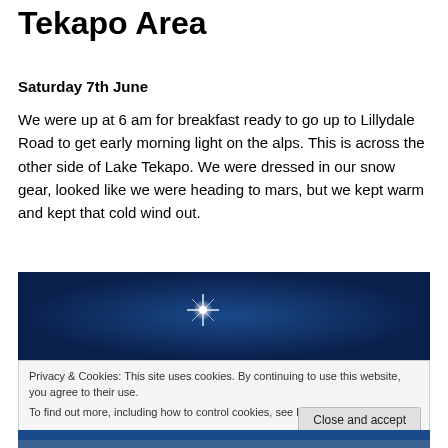Tekapo Area
Saturday 7th June
We were up at 6 am for breakfast ready to go up to Lillydale Road to get early morning light on the alps. This is across the other side of Lake Tekapo. We were dressed in our snow gear, looked like we were heading to mars, but we kept warm and kept that cold wind out.
[Figure (photo): Night sky photo showing a bright star/light source against a deep blue sky, with mountain silhouette at bottom]
Privacy & Cookies: This site uses cookies. By continuing to use this website, you agree to their use.
To find out more, including how to control cookies, see here: Cookie Policy
[Figure (photo): Partial mountain landscape photo at bottom of page]